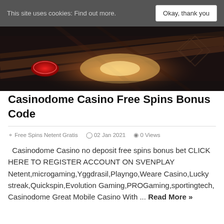This site uses cookies: Find out more. Okay, thank you
[Figure (photo): Dark casino roulette table with red and amber lighting, close-up of chips and wheel]
Casinodome Casino Free Spins Bonus Code
Free Spins Netent Gratis   02 Jan 2021   0 Views
Casinodome Casino no deposit free spins bonus bet CLICK HERE TO REGISTER ACCOUNT ON SVENPLAY Netent,microgaming,Yggdrasil,Playngo,Weare Casino,Lucky streak,Quickspin,Evolution Gaming,PROGaming,sportingtech, Casinodome Great Mobile Casino With ... Read More »